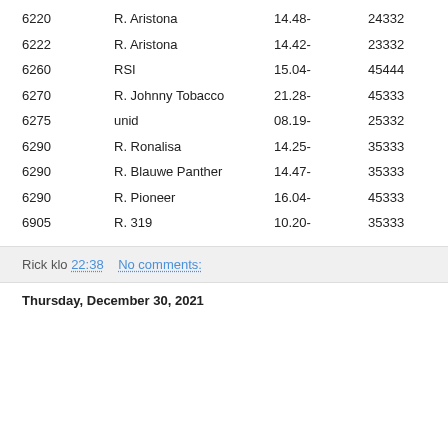|  |  |  |  |  |
| --- | --- | --- | --- | --- |
| 6220 | R. Aristona | 14.48- | 24332 | E |
| 6222 | R. Aristona | 14.42- | 23332 | E |
| 6260 | RSI | 15.04- | 45444 | E |
| 6270 | R. Johnny Tobacco | 21.28- | 45333 | E |
| 6275 | unid | 08.19- | 25332 | mx |
| 6290 | R. Ronalisa | 14.25- | 35333 | E |
| 6290 | R. Blauwe Panther | 14.47- | 35333 | mx |
| 6290 | R. Pioneer | 16.04- | 45333 | E |
| 6905 | R. 319 | 10.20- | 35333 | mx |
Rick klo 22:38    No comments:
Thursday, December 30, 2021